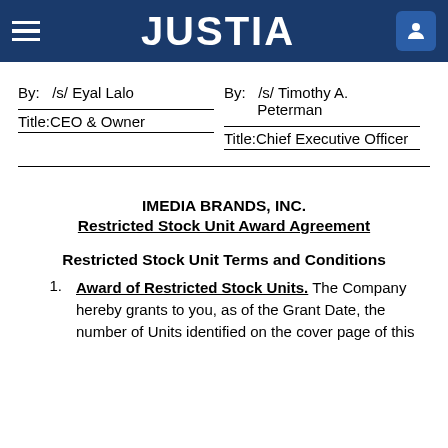JUSTIA
By:  /s/ Eyal Lalo
Title:CEO & Owner
By:  /s/ Timothy A. Peterman
Title:Chief Executive Officer
IMEDIA BRANDS, INC.
Restricted Stock Unit Award Agreement
Restricted Stock Unit Terms and Conditions
1.  Award of Restricted Stock Units. The Company hereby grants to you, as of the Grant Date, the number of Units identified on the cover page of this